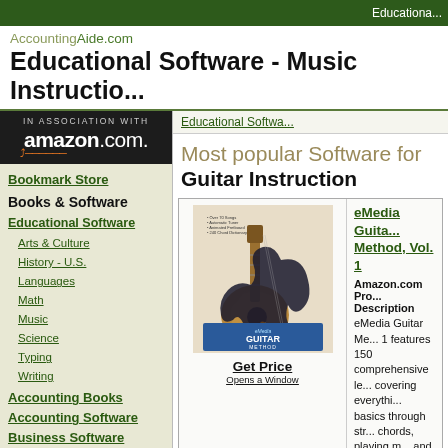Educationa...
AccountingAide.com
Educational Software - Music Instructio...
[Figure (logo): Amazon.com associates logo — black background with 'IN ASSOCIATION WITH amazon.com.' text and orange smile arrow]
Bookmark Store
Books & Software
Educational Software
Arts & Culture
History - U.S.
Languages
Math
Music
Science
Typing
Writing
Accounting Books
Accounting Software
Business Software
Educational Softwa...
Most popular Software for Guitar Instruction
[Figure (photo): eMedia Guitar Method product box showing acoustic and electric guitars]
Get Price
Opens a Window
eMedia Guita... Method, Vol. 1
Amazon.com Pro... Description
eMedia Guitar Me... 1 features 150 comprehensive le... covering everythi... basics through str... chords, playing m... and fingerpicking. more than 30 vide... three hours of aud... guitar instructor K... Learning guitar...